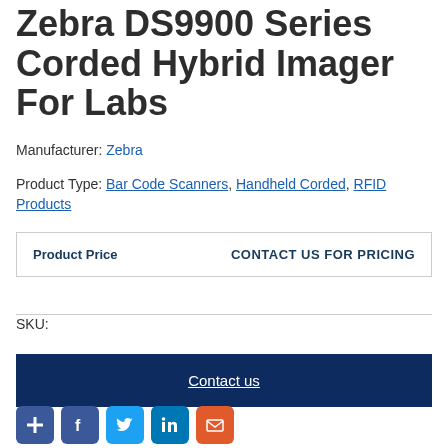Zebra DS9900 Series Corded Hybrid Imager For Labs
Manufacturer: Zebra
Product Type: Bar Code Scanners, Handheld Corded, RFID Products
| Product Price | CONTACT US FOR PRICING |
| --- | --- |
SKU:
Contact us
[Figure (other): Social sharing icons: plus/share, Facebook, Twitter, LinkedIn, email]